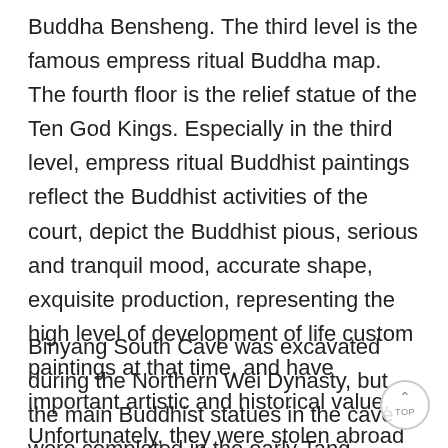Buddha Bensheng. The third level is the famous empress ritual Buddha map. The fourth floor is the relief statue of the Ten God Kings. Especially in the third level, empress ritual Buddhist paintings reflect the Buddhist activities of the court, depict the Buddhist pious, serious and tranquil mood, accurate shape, exquisite production, representing the high level of development of life custom paintings at that time, and have important artistic and historical value. Unfortunately, they were stolen abroad in the 1930s and 1940s. They are displayed at the Metropolitan Museum of New York and the Nelson Museum of Art, Kansas.
Binyang South Cave was excavated during the Northern Wei Dynasty, but the main Buddhist statues in the cave were completed in the early Tang Dynasty. The main Buddha in the cave is Amitabha Buddha, with a full face, broad